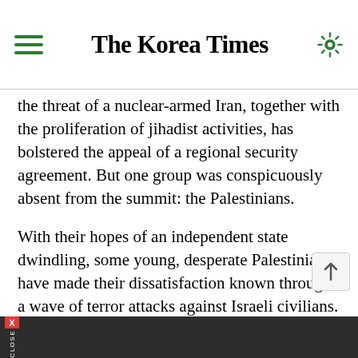The Korea Times
the threat of a nuclear-armed Iran, together with the proliferation of jihadist activities, has bolstered the appeal of a regional security agreement. But one group was conspicuously absent from the summit: the Palestinians.
With their hopes of an independent state dwindling, some young, desperate Palestinians have made their dissatisfaction known through a wave of terror attacks against Israeli civilians. This suggests that a grand Arab-Israeli regional initiative that excludes the Palestinians may well prove unsustainable.
As long as Palestinians feel trapped under Israeli